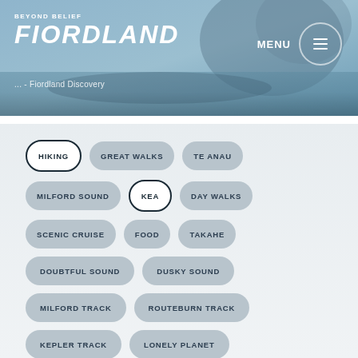[Figure (photo): Website header with kayaking/water background image showing Fiordland scenery]
BEYOND BELIEF FIORDLAND — MENU
... - Fiordland Discovery
HIKING
GREAT WALKS
TE ANAU
MILFORD SOUND
KEA
DAY WALKS
SCENIC CRUISE
FOOD
TAKAHE
DOUBTFUL SOUND
DUSKY SOUND
MILFORD TRACK
ROUTEBURN TRACK
KEPLER TRACK
LONELY PLANET